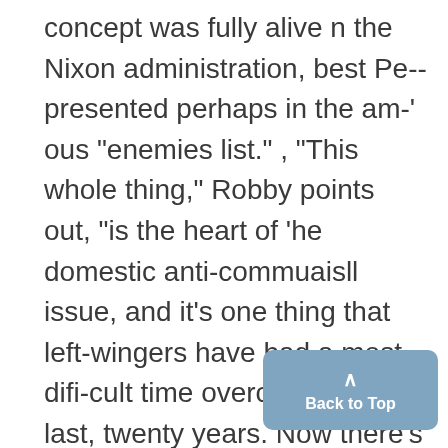concept was fully alive n the Nixon administration, best Pe--presented perhaps in the am-' ous "enemies list." , "This whole thing," Robby points out, "is the heart of 'he domestic anti-commuaisll issue, and it's one thing that left-wingers have had a most difi-cult time overcoming in the last, twenty years. Now there's an opportunity to seize the time and say look, this whole idea of the Communist menace is : just a